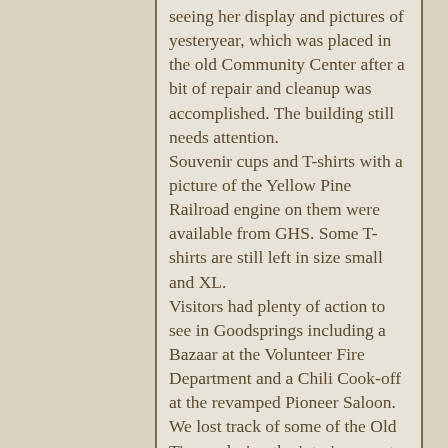seeing her display and pictures of yesteryear, which was placed in the old Community Center after a bit of repair and cleanup was accomplished. The building still needs attention. Souvenir cups and T-shirts with a picture of the Yellow Pine Railroad engine on them were available from GHS. Some T-shirts are still left in size small and XL. Visitors had plenty of action to see in Goodsprings including a Bazaar at the Volunteer Fire Department and a Chili Cook-off at the revamped Pioneer Saloon. We lost track of some of the Old Timers during the interim as not everyone made it into the picture but we are sure that all had a good time.